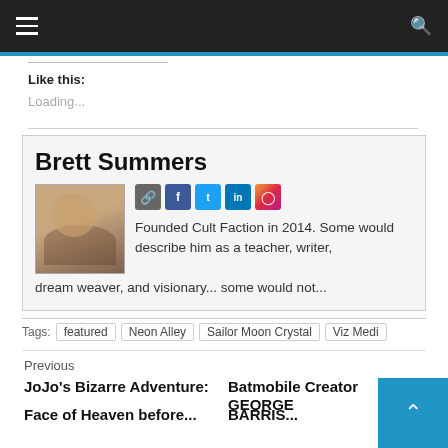Navigation bar with hamburger menu and search icon
Like this:
Loading...
Brett Summers
[Figure (photo): Photo of Brett Summers]
Founded Cult Faction in 2014. Some would describe him as a teacher, writer, dream weaver, and visionary... some would not...
Tags:  featured   Neon Alley   Sailor Moon Crystal   Viz Media
Previous
JoJo's Bizarre Adventure:
Batmobile Creator GEORGE
Face of Heaven before...
BARRIS...